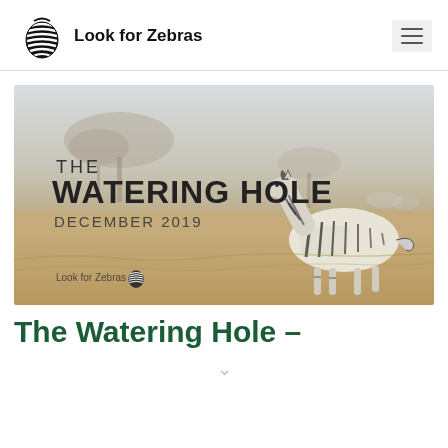Look for Zebras
[Figure (illustration): Banner image showing an African savanna scene with a zebra, acacia trees, and golden grassland. Text overlay reads: THE WATERING HOLE DECEMBER 2019, with Look for Zebras logo at bottom left.]
The Watering Hole –